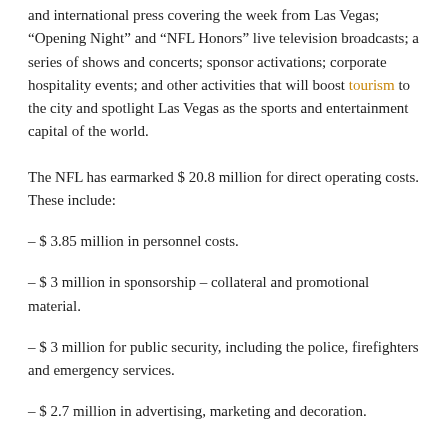and international press covering the week from Las Vegas; “Opening Night” and “NFL Honors” live television broadcasts; a series of shows and concerts; sponsor activations; corporate hospitality events; and other activities that will boost tourism to the city and spotlight Las Vegas as the sports and entertainment capital of the world.
The NFL has earmarked $ 20.8 million for direct operating costs. These include:
– $ 3.85 million in personnel costs.
– $ 3 million in sponsorship – collateral and promotional material.
– $ 3 million for public security, including the police, firefighters and emergency services.
– $ 2.7 million in advertising, marketing and decoration.